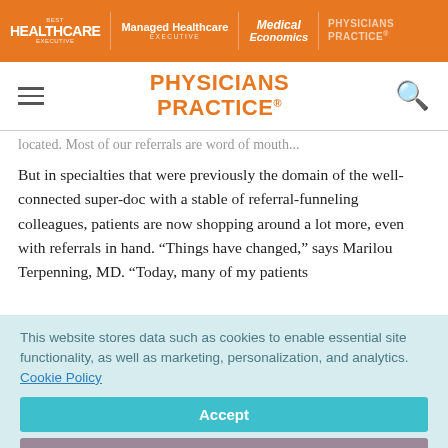HEALTHCARE EXECUTIVE | Managed Healthcare EXECUTIVE | Medical Economics | PHYSICIANS PRACTICE
PHYSICIANS PRACTICE
...located. Most of our referrals are word of mouth...
But in specialties that were previously the domain of the well-connected super-doc with a stable of referral-funneling colleagues, patients are now shopping around a lot more, even with referrals in hand. “Things have changed,” says Marilou Terpenning, MD. “Today, many of my patients
This website stores data such as cookies to enable essential site functionality, as well as marketing, personalization, and analytics. Cookie Policy
Accept
Deny